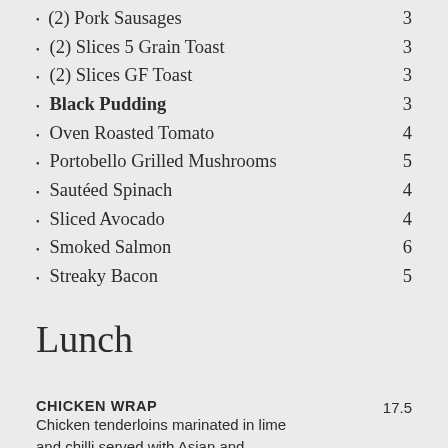(2) Pork Sausages
(2) Slices 5 Grain Toast
(2) Slices GF Toast
Black Pudding
Oven Roasted Tomato
Portobello Grilled Mushrooms
Sautéed Spinach
Sliced Avocado
Smoked Salmon
Streaky Bacon
Lunch
CHICKEN WRAP
Chicken tenderloins marinated in lime and chilli served with Asian and